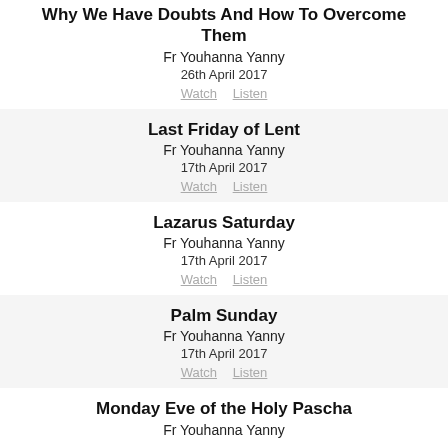Why We Have Doubts And How To Overcome Them
Fr Youhanna Yanny
26th April 2017
Watch   Listen
Last Friday of Lent
Fr Youhanna Yanny
17th April 2017
Watch   Listen
Lazarus Saturday
Fr Youhanna Yanny
17th April 2017
Watch   Listen
Palm Sunday
Fr Youhanna Yanny
17th April 2017
Watch   Listen
Monday Eve of the Holy Pascha
Fr Youhanna Yanny